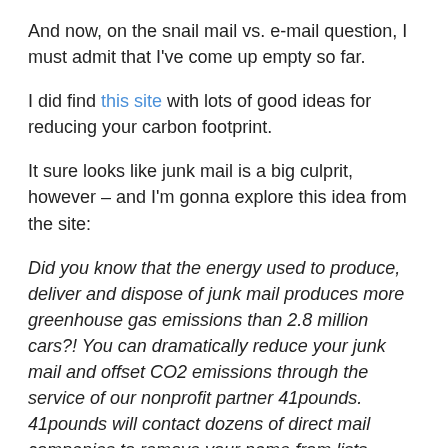And now, on the snail mail vs. e-mail question, I must admit that I've come up empty so far.
I did find this site with lots of good ideas for reducing your carbon footprint.
It sure looks like junk mail is a big culprit, however – and I'm gonna explore this idea from the site:
Did you know that the energy used to produce, deliver and dispose of junk mail produces more greenhouse gas emissions than 2.8 million cars?! You can dramatically reduce your junk mail and offset CO2 emissions through the service of our nonprofit partner 41pounds. 41pounds will contact dozens of direct mail companies to remove your name from lists, including catalogs you specify. The cost is $41 for everyone in your household for 5 years, and 41pounds will donate $15 to Carbon fund to help...